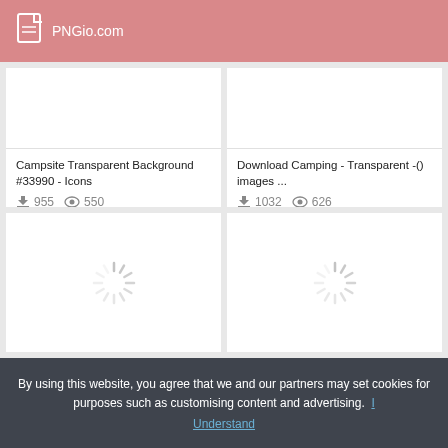PNGio.com
[Figure (screenshot): Card grid showing PNG image thumbnails. Top-left card: Campsite Transparent Background #33990 - Icons, 955 downloads, 550 views. Top-right card: Download Camping - Transparent -() images ..., 1032 downloads, 626 views. Bottom-left card: loading spinner placeholder. Bottom-right card: loading spinner placeholder.]
By using this website, you agree that we and our partners may set cookies for purposes such as customising content and advertising.
Understand
Download Campsite Hd HQ Image | Png ...
Green Grass Background download ...